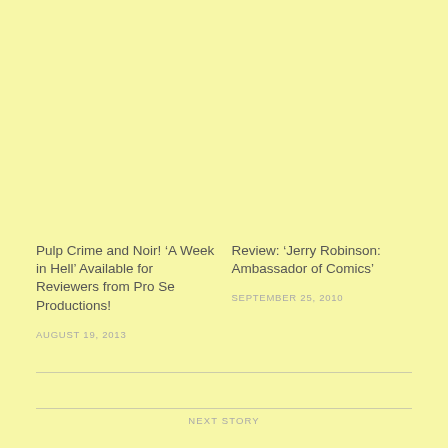Pulp Crime and Noir! ‘A Week in Hell’ Available for Reviewers from Pro Se Productions!
AUGUST 19, 2013
Review: ‘Jerry Robinson: Ambassador of Comics’
SEPTEMBER 25, 2010
NEXT STORY